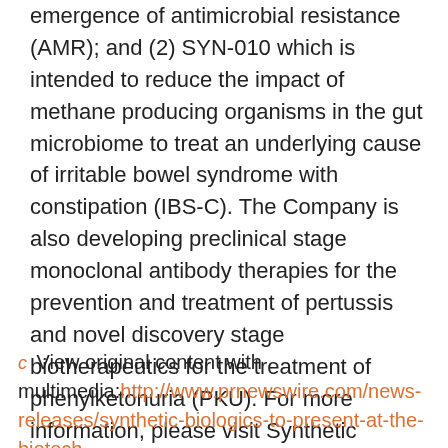emergence of antimicrobial resistance (AMR); and (2) SYN-010 which is intended to reduce the impact of methane producing organisms in the gut microbiome to treat an underlying cause of irritable bowel syndrome with constipation (IBS-C). The Company is also developing preclinical stage monoclonal antibody therapies for the prevention and treatment of pertussis and novel discovery stage biotherapeutics for the treatment of phenylketonuria (PKU). For more information, please visit Synthetic Biologics' website at www.syntheticbiologics.com
View original content with multimedia:http://www.prnewswire.com/news-releases/synthetic-biologics-to-present-at-the-biotech-